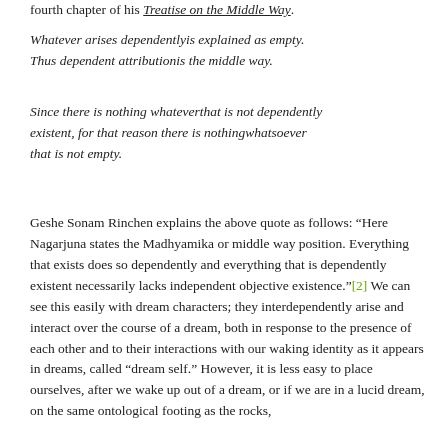fourth chapter of his Treatise on the Middle Way.
Whatever arises dependentlyis explained as empty. Thus dependent attributionis the middle way.
Since there is nothing whateverthat is not dependently existent, for that reason there is nothingwhatsoever that is not empty.
Geshe Sonam Rinchen explains the above quote as follows: “Here Nagarjuna states the Madhyamika or middle way position. Everything that exists does so dependently and everything that is dependently existent necessarily lacks independent objective existence.”[2] We can see this easily with dream characters; they interdependently arise and interact over the course of a dream, both in response to the presence of each other and to their interactions with our waking identity as it appears in dreams, called “dream self.” However, it is less easy to place ourselves, after we wake up out of a dream, or if we are in a lucid dream, on the same ontological footing as the rocks,